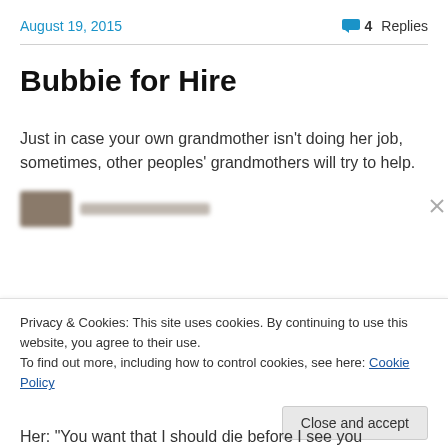August 19, 2015   4 Replies
Bubbie for Hire
Just in case your own grandmother isn't doing her job, sometimes, other peoples' grandmothers will try to help.
[Figure (photo): Blurred/redacted profile image and name]
Privacy & Cookies: This site uses cookies. By continuing to use this website, you agree to their use.
To find out more, including how to control cookies, see here: Cookie Policy
Her: "You want that I should die before I see you